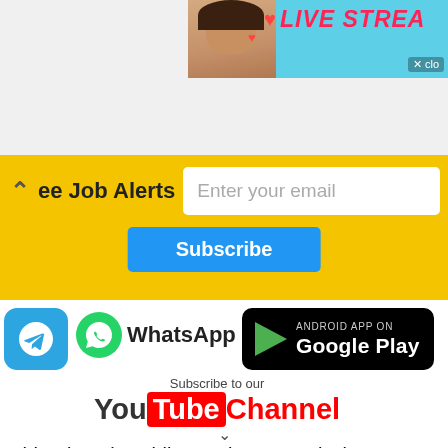[Figure (screenshot): Top ad banner with live stream, showing a woman's face with hearts and 'LIVE STREA' text on cyan background]
[Figure (screenshot): Yellow email subscription bar with 'ee Job Alerts', email input field, and Subscribe button]
[Figure (infographic): Social media icons: Telegram, WhatsApp, Google Play badge, and YouTube channel subscribe area]
Chhattisgarh Public Service Commission Peon Recruitment 2022: Advertisement for the post of Peon in Chhattisgarh Public Service Commission .